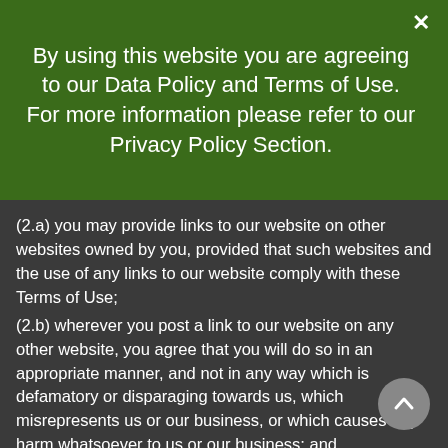By using this website you are agreeing to our Data Policy and Terms of Use. For more information please refer to our Privacy Policy Section.
(2.a) you may provide links to our website on other websites owned by you, provided that such websites and the use of any links to our website comply with these Terms of Use;
(2.b) wherever you post a link to our website on any other website, you agree that you will do so in an appropriate manner, and not in any way which is defamatory or disparaging towards us, which misrepresents us or our business, or which causes any harm whatsoever to us or our business; and